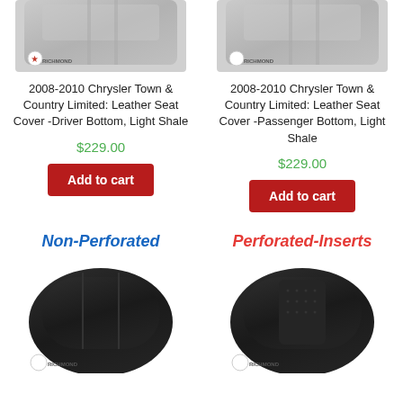[Figure (photo): Gray leather seat cover product photo with Richmond logo - Driver Bottom]
[Figure (photo): Gray leather seat cover product photo with Richmond logo - Passenger Bottom]
2008-2010 Chrysler Town & Country Limited: Leather Seat Cover -Driver Bottom, Light Shale
2008-2010 Chrysler Town & Country Limited: Leather Seat Cover -Passenger Bottom, Light Shale
$229.00
$229.00
Add to cart
Add to cart
Non-Perforated
Perforated-Inserts
[Figure (photo): Black leather seat cover - Non-Perforated with Richmond logo]
[Figure (photo): Black leather seat cover - Perforated-Inserts with Richmond logo]